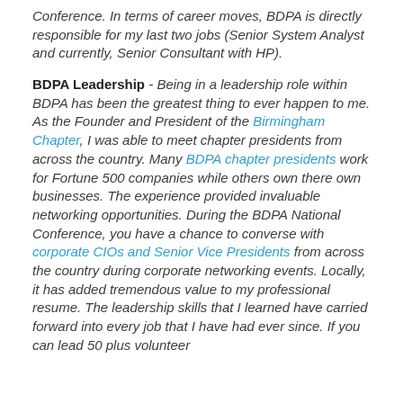Conference. In terms of career moves, BDPA is directly responsible for my last two jobs (Senior System Analyst and currently, Senior Consultant with HP).
BDPA Leadership - Being in a leadership role within BDPA has been the greatest thing to ever happen to me. As the Founder and President of the Birmingham Chapter, I was able to meet chapter presidents from across the country. Many BDPA chapter presidents work for Fortune 500 companies while others own there own businesses. The experience provided invaluable networking opportunities. During the BDPA National Conference, you have a chance to converse with corporate CIOs and Senior Vice Presidents from across the country during corporate networking events. Locally, it has added tremendous value to my professional resume. The leadership skills that I learned have carried forward into every job that I have had ever since. If you can lead 50 plus volunteer